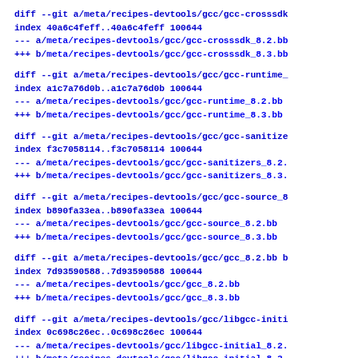diff --git a/meta/recipes-devtools/gcc/gcc-crosssdk
index 40a6c4feff..40a6c4feff 100644
--- a/meta/recipes-devtools/gcc/gcc-crosssdk_8.2.bb
+++ b/meta/recipes-devtools/gcc/gcc-crosssdk_8.3.bb
diff --git a/meta/recipes-devtools/gcc/gcc-runtime_
index a1c7a76d0b..a1c7a76d0b 100644
--- a/meta/recipes-devtools/gcc/gcc-runtime_8.2.bb
+++ b/meta/recipes-devtools/gcc/gcc-runtime_8.3.bb
diff --git a/meta/recipes-devtools/gcc/gcc-sanitize
index f3c7058114..f3c7058114 100644
--- a/meta/recipes-devtools/gcc/gcc-sanitizers_8.2.
+++ b/meta/recipes-devtools/gcc/gcc-sanitizers_8.3.
diff --git a/meta/recipes-devtools/gcc/gcc-source_8
index b890fa33ea..b890fa33ea 100644
--- a/meta/recipes-devtools/gcc/gcc-source_8.2.bb
+++ b/meta/recipes-devtools/gcc/gcc-source_8.3.bb
diff --git a/meta/recipes-devtools/gcc/gcc_8.2.bb b
index 7d93590588..7d93590588 100644
--- a/meta/recipes-devtools/gcc/gcc_8.2.bb
+++ b/meta/recipes-devtools/gcc/gcc_8.3.bb
diff --git a/meta/recipes-devtools/gcc/libgcc-initi
index 0c698c26ec..0c698c26ec 100644
--- a/meta/recipes-devtools/gcc/libgcc-initial_8.2.
+++ b/meta/recipes-devtools/gcc/libgcc-initial_8.3.